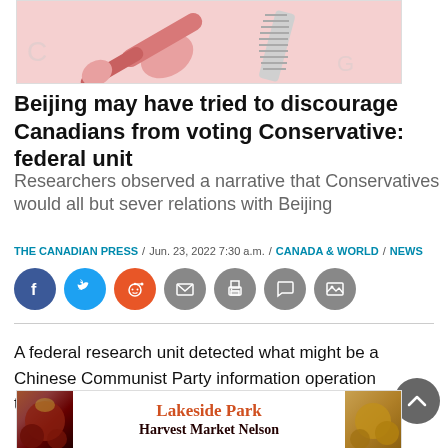[Figure (photo): A pink/red wrench and silver bolt or hardware tool on a white background with faint numerical markings.]
Beijing may have tried to discourage Canadians from voting Conservative: federal unit
Researchers observed a narrative that Conservatives would all but sever relations with Beijing
THE CANADIAN PRESS / Jun. 23, 2022 7:30 a.m. / CANADA & WORLD / NEWS
[Figure (infographic): Social sharing icons: Facebook (blue), Twitter (blue), Reddit (orange), Email (grey), Print (grey), Comment (grey), Image (grey)]
A federal research unit detected what might be a Chinese Communist Party information operation that aimed to
[Figure (photo): Advertisement banner for Lakeside Park Harvest Market Nelson]